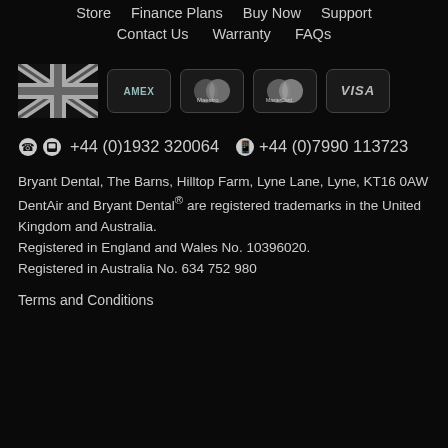Store   Finance Plans   Buy Now   Support
Contact Us   Warranty   FAQs
[Figure (illustration): UK flag and payment method icons: AMEX, Maestro, MasterCard, VISA]
☎ 💬 +44 (0)1932 320064   📱 +44 (0)7990 113723
Bryant Dental, The Barns, Hilltop Farm, Lyne Lane, Lyne, KT16 0AW
DentAir and Bryant Dental® are registered trademarks in the United Kingdom and Australia.
Registered in England and Wales No. 10396020.
Registered in Australia No. 634 752 980
Terms and Conditions